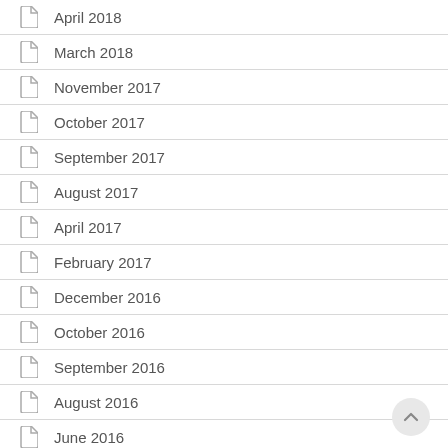April 2018
March 2018
November 2017
October 2017
September 2017
August 2017
April 2017
February 2017
December 2016
October 2016
September 2016
August 2016
June 2016
January 2016